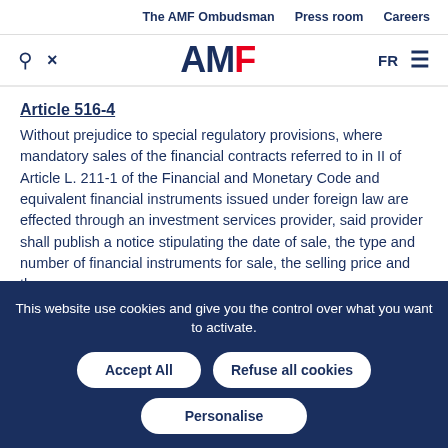The AMF Ombudsman   Press room   Careers
[Figure (logo): AMF logo with search and tools icons, FR language toggle and hamburger menu]
Article 516-4
Without prejudice to special regulatory provisions, where mandatory sales of the financial contracts referred to in II of Article L. 211-1 of the Financial and Monetary Code and equivalent financial instruments issued under foreign law are effected through an investment services provider, said provider shall publish a notice stipulating the date of sale, the type and number of financial instruments for sale, the selling price and the
This website use cookies and give you the control over what you want to activate.
Accept All   Refuse all cookies
Personalise